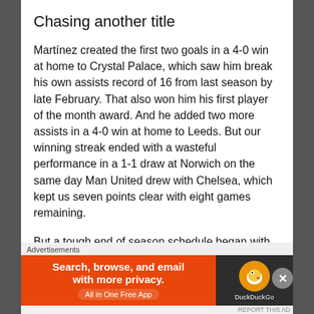Chasing another title
Martínez created the first two goals in a 4-0 win at home to Crystal Palace, which saw him break his own assists record of 16 from last season by late February. That also won him his first player of the month award. And he added two more assists in a 4-0 win at home to Leeds. But our winning streak ended with a wasteful performance in a 1-1 draw at Norwich on the same day Man United drew with Chelsea, which kept us seven points clear with eight games remaining.
But a tough end of season schedule began with games against both our nearest challengers. First
Advertisements
[Figure (infographic): DuckDuckGo advertisement banner: orange section with text 'Search, browse, and email with more privacy. All in One Free App', dark section with DuckDuckGo logo]